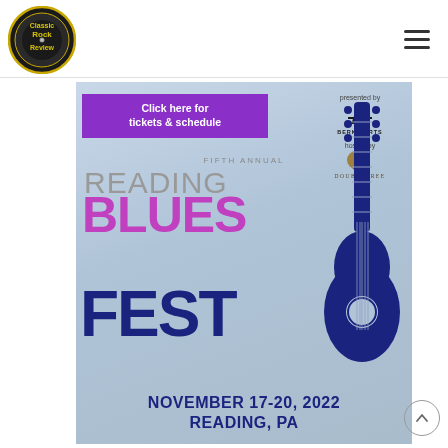[Figure (logo): Classic Rock Review circular logo with vinyl record design and yellow/green text]
[Figure (illustration): Fifth Annual Reading Blues Fest festival poster for November 17-20, 2022 in Reading, PA. Features a blue guitar graphic, purple 'BLUES' lettering, dark blue 'READING' and 'FEST' text, a purple ticket banner reading 'Click here for tickets & schedule', Berks Arts and DoubleTree sponsor logos, on a light blue gradient background.]